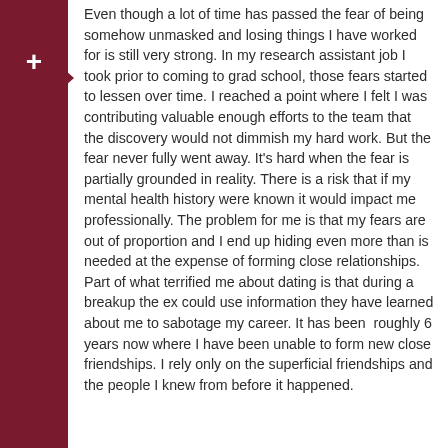Even though a lot of time has passed the fear of being somehow unmasked and losing things I have worked for is still very strong. In my research assistant job I took prior to coming to grad school, those fears started to lessen over time. I reached a point where I felt I was contributing valuable enough efforts to the team that the discovery would not dimmish my hard work. But the fear never fully went away. It's hard when the fear is partially grounded in reality. There is a risk that if my mental health history were known it would impact me professionally. The problem for me is that my fears are out of proportion and I end up hiding even more than is needed at the expense of forming close relationships. Part of what terrified me about dating is that during a breakup the ex could use information they have learned about me to sabotage my career. It has been roughly 6 years now where I have been unable to form new close friendships. I rely only on the superficial friendships and the people I knew from before it happened.